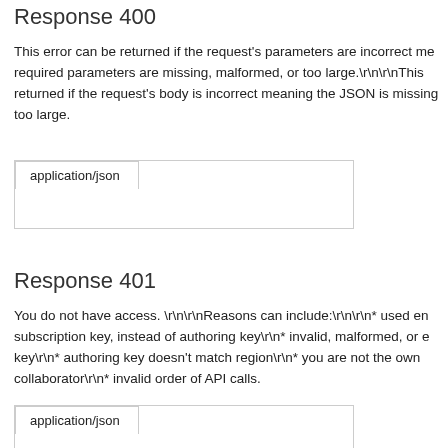Response 400
This error can be returned if the request's parameters are incorrect me required parameters are missing, malformed, or too large.\r\n\r\nThis returned if the request's body is incorrect meaning the JSON is missing too large.
[Figure (screenshot): Tab UI showing 'application/json' tab selected]
Response 401
You do not have access. \r\n\r\nReasons can include:\r\n\r\n* used en subscription key, instead of authoring key\r\n* invalid, malformed, or e key\r\n* authoring key doesn't match region\r\n* you are not the own collaborator\r\n* invalid order of API calls.
[Figure (screenshot): Tab UI showing 'application/json' tab selected]
Response 403